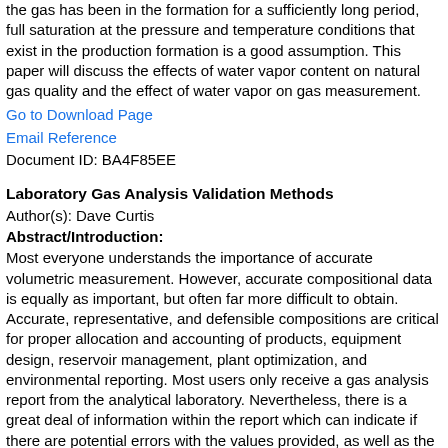the gas has been in the formation for a sufficiently long period, full saturation at the pressure and temperature conditions that exist in the production formation is a good assumption. This paper will discuss the effects of water vapor content on natural gas quality and the effect of water vapor on gas measurement.
Go to Download Page
Email Reference
Document ID: BA4F85EE
Laboratory Gas Analysis Validation Methods
Author(s): Dave Curtis
Abstract/Introduction:
Most everyone understands the importance of accurate volumetric measurement. However, accurate compositional data is equally as important, but often far more difficult to obtain. Accurate, representative, and defensible compositions are critical for proper allocation and accounting of products, equipment design, reservoir management, plant optimization, and environmental reporting. Most users only receive a gas analysis report from the analytical laboratory. Nevertheless, there is a great deal of information within the report which can indicate if there are potential errors with the values provided, as well as the potential source of those errors. Once the potential source of the errors are identified, they can be audited and validated accordingly.